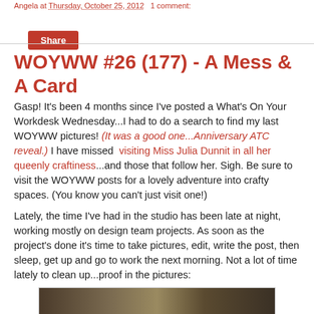Angela at Thursday, October 25, 2012   1 comment:
WOYWW #26 (177) - A Mess & A Card
Gasp! It's been 4 months since I've posted a What's On Your Workdesk Wednesday...I had to do a search to find my last WOYWW pictures! (It was a good one...Anniversary ATC reveal.) I have missed  visiting Miss Julia Dunnit in all her queenly craftiness...and those that follow her. Sigh. Be sure to visit the WOYWW posts for a lovely adventure into crafty spaces. (You know you can't just visit one!)
Lately, the time I've had in the studio has been late at night, working mostly on design team projects. As soon as the project's done it's time to take pictures, edit, write the post, then sleep, get up and go to work the next morning. Not a lot of time lately to clean up...proof in the pictures:
[Figure (photo): Photo of a messy craft/studio workdesk with various craft supplies visible]